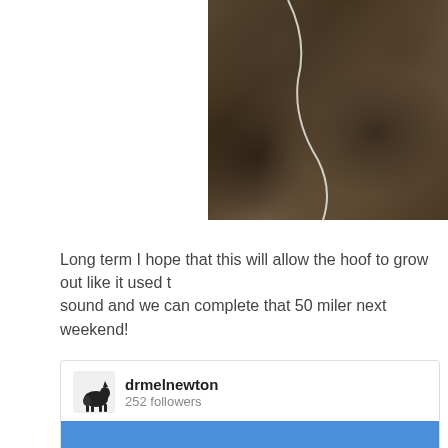[Figure (photo): Close-up photo of dark soil, mud, and organic debris (straw/hay fragments), with a thin white wire or cord visible running through it. The image is cropped and shows only the right portion of what appears to be hoof-related material on the ground.]
Long term I hope that this will allow the hoof to grow out like it used to sound and we can complete that 50 miler next weekend!
drmelnewton
252 followers